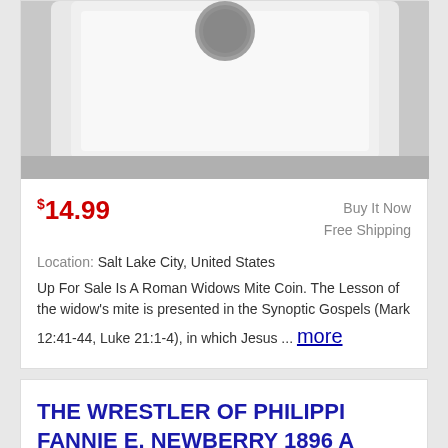[Figure (photo): Photo of a Roman Widow's Mite coin in a clear plastic holder/case, cropped at the top]
$14.99   Buy It Now   Free Shipping
Location: Salt Lake City, United States
Up For Sale Is A Roman Widows Mite Coin. The Lesson of the widow’s mite is presented in the Synoptic Gospels (Mark 12:41-44, Luke 21:1-4), in which Jesus ... more
THE WRESTLER OF PHILIPPI FANNIE E. NEWBERRY 1896 A TALE OF THE EARLY CHRISTIANS